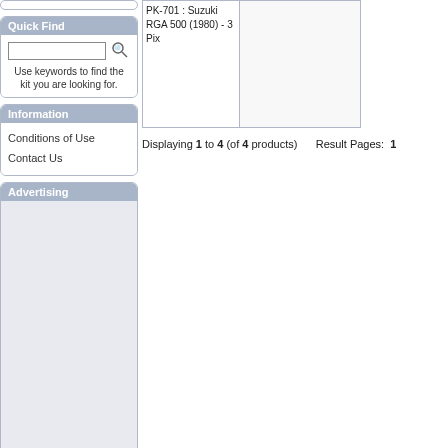Quick Find
Use keywords to find the kit you are looking for.
Information
Conditions of Use
Contact Us
Advertising
[Figure (other): Product listing cell showing PK-701 : Suzuki RGA 500 (1980) - 3 Pix with a blank image placeholder and a border]
Displaying 1 to 4 (of 4 products)   Result Pages:  1